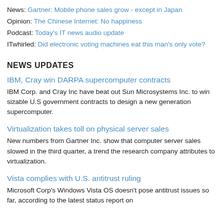News: Gartner: Mobile phone sales grow - except in Japan
Opinion: The Chinese Internet: No happiness
Podcast: Today's IT news audio update
ITwhirled: Did electronic voting machines eat this man's only vote?
NEWS UPDATES
IBM, Cray win DARPA supercomputer contracts
IBM Corp. and Cray Inc have beat out Sun Microsystems Inc. to win sizable U.S government contracts to design a new generation supercomputer.
Virtualization takes toll on physical server sales
New numbers from Gartner Inc. show that computer server sales slowed in the third quarter, a trend the research company attributes to virtualization.
Vista complies with U.S. antitrust ruling
Microsoft Corp's Windows Vista OS doesn't pose antitrust issues so far, according to the latest status report on